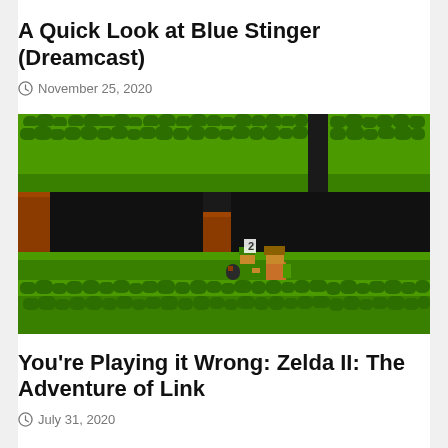A Quick Look at Blue Stinger (Dreamcast)
November 25, 2020
[Figure (screenshot): Zelda II: The Adventure of Link NES game screenshot showing Link fighting an enemy in a side-scrolling environment with green tree canopy terrain above and black cave openings, with brown door-like structures on the sides.]
You're Playing it Wrong: Zelda II: The Adventure of Link
July 31, 2020